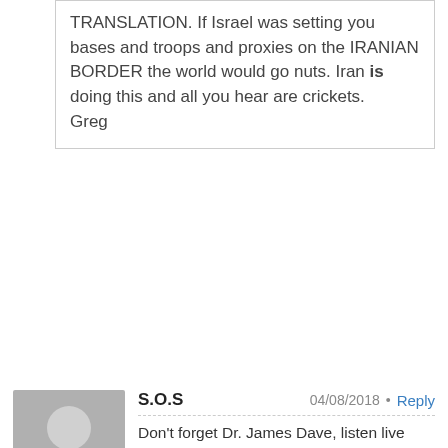TRANSLATION. If Israel was setting you bases and troops and proxies on the IRANIAN BORDER the world would go nuts. Iran is doing this and all you hear are crickets.
Greg
S.O.S  04/08/2018 • Reply
Don't forget Dr. James Dave, listen live WAAM1600 am.com at 2:00 pm EDT US.to 5:00 pm EDT US. SUNDAY'S!
Mohammad  04/08/2018 • Reply
Greg,
Here is the breakdown on what it happening in the M.E.:
1- if Russian backed Assad's forces take over Duma, the last